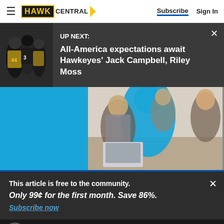HAWK CENTRAL — Subscribe | Sign In
UP NEXT: All-America expectations await Hawkeyes' Jack Campbell, Riley Moss
[Figure (photo): Advertisement area with blue background and people looking at laptop]
This article is free to the community.
Only 99¢ for the first month. Save 86%.
Subscribe now
Subscribe | Sign in